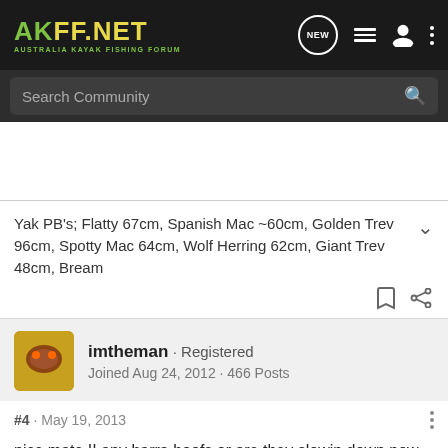AKFF.NET AUSTRALIA KAYAK FISHING FORUM
Search Community
Yak PB's; Flatty 67cm, Spanish Mac ~60cm, Golden Trev 96cm, Spotty Mac 64cm, Wolf Herring 62cm, Giant Trev 48cm, Bream
imtheman · Registered
Joined Aug 24, 2012 · 466 Posts
#4 · May 19, 2013
nice mate !! any barra boofs or are they slowin down now